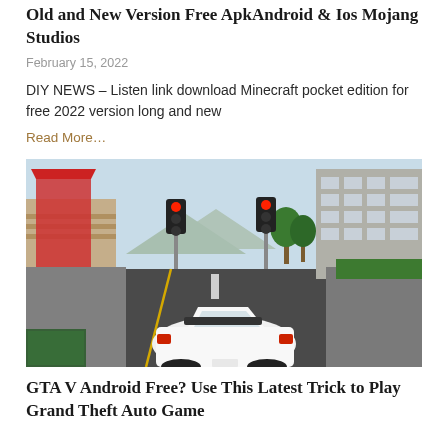Old and New Version Free ApkAndroid & Ios Mojang Studios
February 15, 2022
DIY NEWS – Listen link download Minecraft pocket edition for free 2022 version long and new
Read More…
[Figure (screenshot): GTA V gameplay screenshot showing a white sports car on a city road with traffic lights, buildings, and trees in the background]
GTA V Android Free? Use This Latest Trick to Play Grand Theft Auto Game